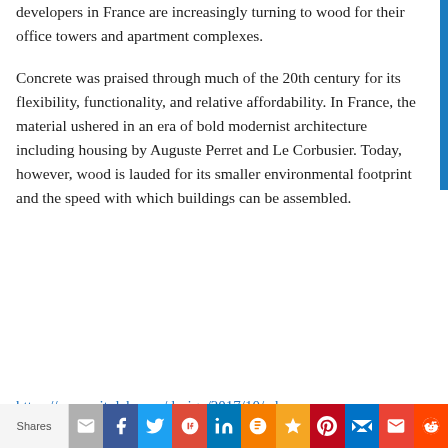developers in France are increasingly turning to wood for their office towers and apartment complexes.
Concrete was praised through much of the 20th century for its flexibility, functionality, and relative affordability. In France, the material ushered in an era of bold modernist architecture including housing by Auguste Perret and Le Corbusier. Today, however, wood is lauded for its smaller environmental footprint and the speed with which buildings can be assembled.
https://www.citylab.com/design/2017/10/why-
Shares